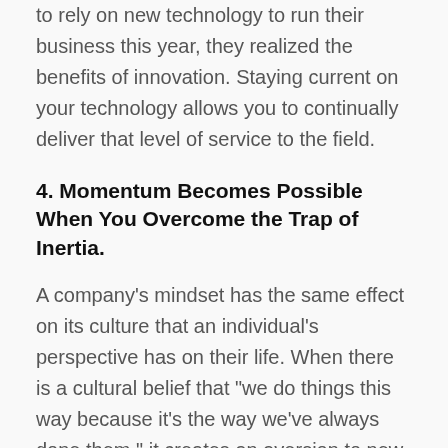to rely on new technology to run their business this year, they realized the benefits of innovation. Staying current on your technology allows you to continually deliver that level of service to the field.
4. Momentum Becomes Possible When You Overcome the Trap of Inertia.
A company's mindset has the same effect on its culture that an individual's perspective has on their life. When there is a cultural belief that "we do things this way because it's the way we've always done them," it creates an aversion to new ideas, change, or risk-taking. This trap of inertia fosters organizational stagnation. The staff can become so comfortable that they are imperceptibly just going through the motions